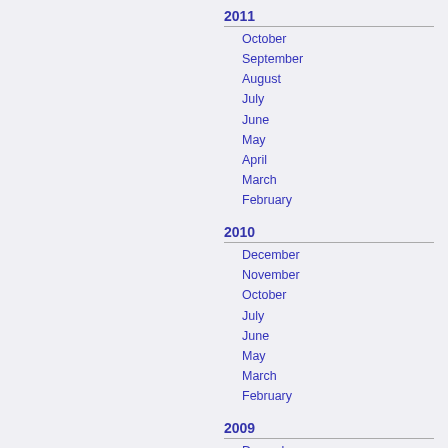2011
October
September
August
July
June
May
April
March
February
2010
December
November
October
July
June
May
March
February
2009
December
November
October
September
June
May
2008
May
April
March
February
January